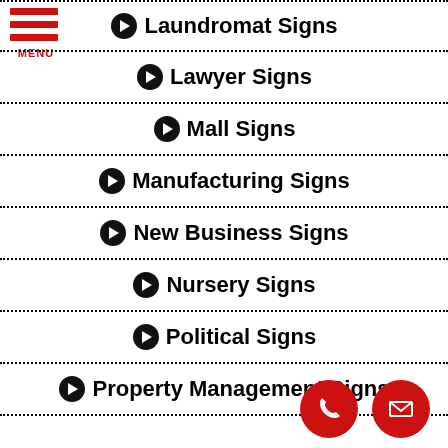Laundromat Signs
Lawyer Signs
Mall Signs
Manufacturing Signs
New Business Signs
Nursery Signs
Political Signs
Property Management Signs